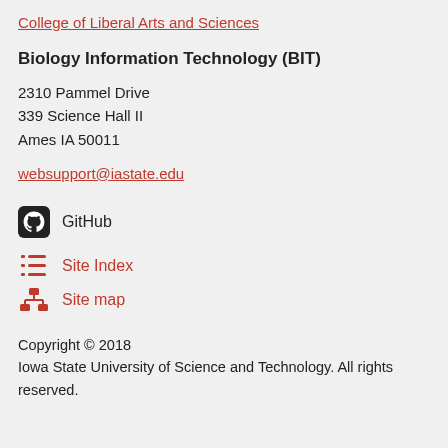College of Liberal Arts and Sciences
Biology Information Technology (BIT)
2310 Pammel Drive
339 Science Hall II
Ames IA 50011
websupport@iastate.edu
GitHub
Site Index
Site map
Copyright © 2018
Iowa State University of Science and Technology. All rights reserved.